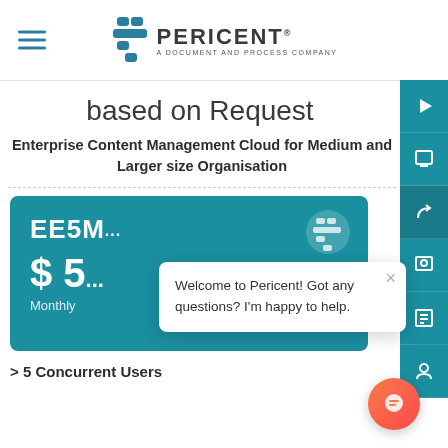[Figure (logo): Pericent logo with icon and text 'PERICENT - A DOCUMENT AND PROCESS COMPANY']
based on Request
Enterprise Content Management Cloud for Medium and Larger size Organisation
[Figure (screenshot): Teal pricing card showing 'EE5M...' product title and '$5...' price, Monthly billing]
Welcome to Pericent! Got any questions? I'm happy to help.
> 5 Concurrent Users